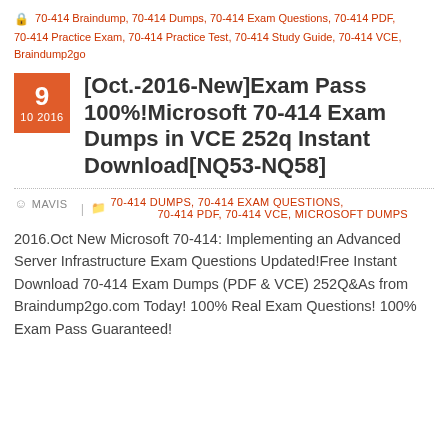70-414 Braindump, 70-414 Dumps, 70-414 Exam Questions, 70-414 PDF, 70-414 Practice Exam, 70-414 Practice Test, 70-414 Study Guide, 70-414 VCE, Braindump2go
[Oct.-2016-New]Exam Pass 100%!Microsoft 70-414 Exam Dumps in VCE 252q Instant Download[NQ53-NQ58]
MAVIS | 70-414 DUMPS, 70-414 EXAM QUESTIONS, 70-414 PDF, 70-414 VCE, MICROSOFT DUMPS
2016.Oct New Microsoft 70-414: Implementing an Advanced Server Infrastructure Exam Questions Updated!Free Instant Download 70-414 Exam Dumps (PDF & VCE) 252Q&As from Braindump2go.com Today! 100% Real Exam Questions! 100% Exam Pass Guaranteed!